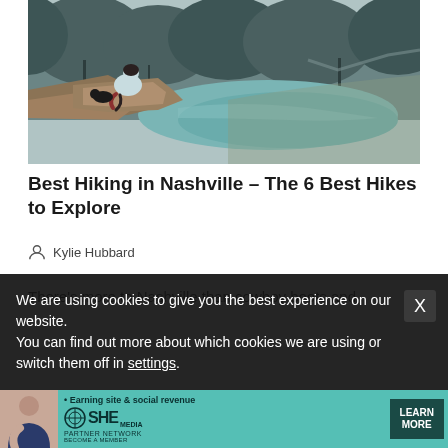[Figure (photo): Person sitting on a rocky cliff overlooking a river or lake surrounded by bare winter trees, misty landscape]
Best Hiking in Nashville – The 6 Best Hikes to Explore
Kylie Hubbard
There's more to Nashville than cowboy boots and
We are using cookies to give you the best experience on our website.
You can find out more about which cookies we are using or switch them off in settings.
[Figure (infographic): SHE Media Partner Network advertisement banner with woman photo, tagline 'Earning site & social revenue', LEARN MORE button]